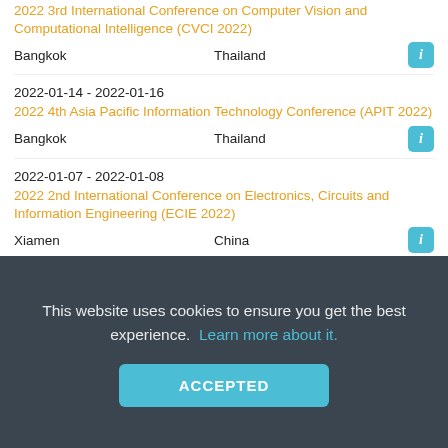2022 3rd International Conference on Computer Vision and Computational Intelligence (CVCI 2022)
Bangkok	Thailand
2022-01-14 - 2022-01-16
2022 4th Asia Pacific Information Technology Conference (APIT 2022)
Bangkok	Thailand
2022-01-07 - 2022-01-08
2022 2nd International Conference on Electronics, Circuits and Information Engineering (ECIE 2022)
Xiamen	China
2022-01-07 - 2022-01-08
2022 2nd International Conference on Electronics, Circuits and Information Engineering (ECIE 2022)
Xiamen
This website uses cookies to ensure you get the best experience. Learn more about it.
ACCEPTED